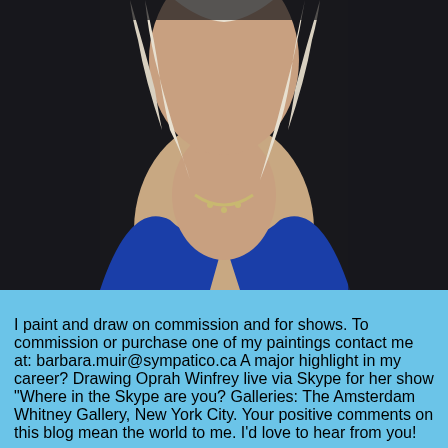[Figure (photo): Close-up portrait photo of an older woman with white/blonde hair, wearing a blue jacket and pearl necklace, against a dark background.]
I paint and draw on commission and for shows. To commission or purchase one of my paintings contact me at: barbara.muir@sympatico.ca A major highlight in my career? Drawing Oprah Winfrey live via Skype for her show "Where in the Skype are you? Galleries: The Amsterdam Whitney Gallery, New York City. Your positive comments on this blog mean the world to me. I'd love to hear from you!
Thursday, July 23, 2009
Could my mother be right?
[Figure (illustration): A pencil or ink sketch/drawing, partially visible at bottom of page.]